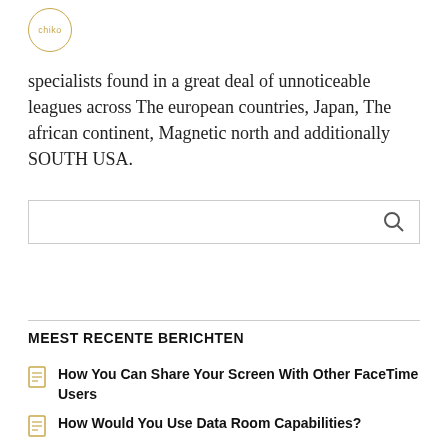[Figure (logo): Chiko logo — circular golden border with 'chiko' text inside]
specialists found in a great deal of unnoticeable leagues across The european countries, Japan, The african continent, Magnetic north and additionally SOUTH USA.
[Figure (other): Search input box with magnifying glass icon on the right]
MEEST RECENTE BERICHTEN
How You Can Share Your Screen With Other FaceTime Users
How Would You Use Data Room Capabilities?
Hitched Dating Sites